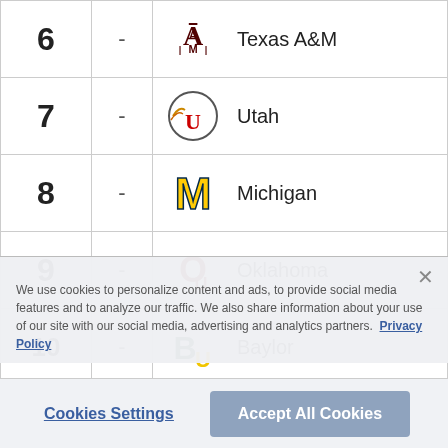| Rank | Change | Team |
| --- | --- | --- |
| 6 | - | Texas A&M |
| 7 | - | Utah |
| 8 | - | Michigan |
| 9 | - | Oklahoma |
| 10 | - | Baylor |
We use cookies to personalize content and ads, to provide social media features and to analyze our traffic. We also share information about your use of our site with our social media, advertising and analytics partners. Privacy Policy
Cookies Settings
Accept All Cookies